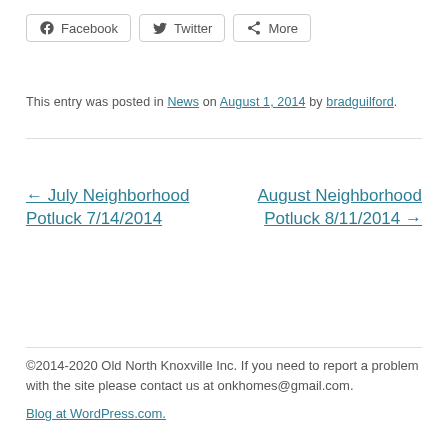[Figure (other): Social share buttons: Facebook, Twitter, More]
This entry was posted in News on August 1, 2014 by bradguilford.
← July Neighborhood Potluck 7/14/2014
August Neighborhood Potluck 8/11/2014 →
©2014-2020 Old North Knoxville Inc. If you need to report a problem with the site please contact us at onkhomes@gmail.com.
Blog at WordPress.com.